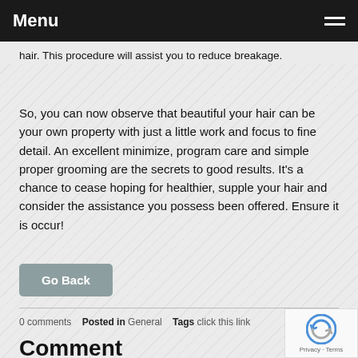Menu
hair. This procedure will assist you to reduce breakage.
So, you can now observe that beautiful your hair can be your own property with just a little work and focus to fine detail. An excellent minimize, program care and simple proper grooming are the secrets to good results. It's a chance to cease hoping for healthier, supple your hair and consider the assistance you possess been offered. Ensure it is occur!
Go Back
0 comments   Posted in General   Tags click this link
Comment